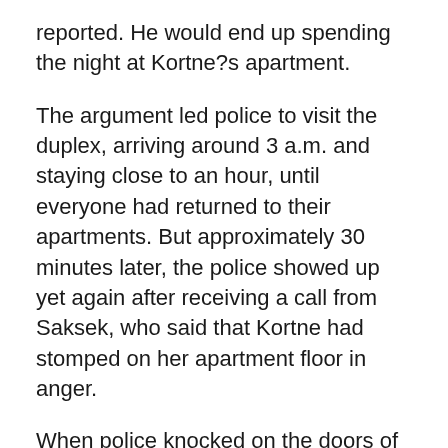reported. He would end up spending the night at Kortne?s apartment.
The argument led police to visit the duplex, arriving around 3 a.m. and staying close to an hour, until everyone had returned to their apartments. But approximately 30 minutes later, the police showed up yet again after receiving a call from Saksek, who said that Kortne had stomped on her apartment floor in anger.
When police knocked on the doors of both Kortne and Saksek, no one answered. According to Saksek, he went to bed after he heard Kortne stomping above him and, he assumed, Kortne herself also hit the sack.
According to about Kortne...